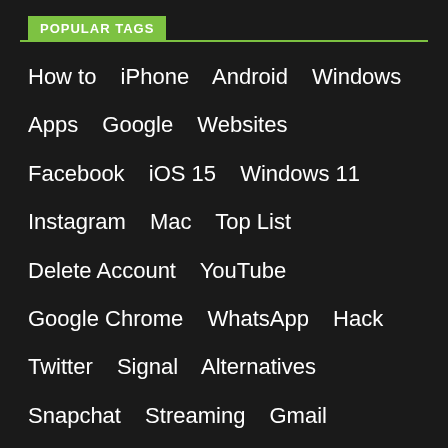POPULAR TAGS
How to  iPhone  Android  Windows  Apps  Google  Websites  Facebook  iOS 15  Windows 11  Instagram  Mac  Top List  Delete Account  YouTube  Google Chrome  WhatsApp  Hack  Twitter  Signal  Alternatives  Snapchat  Streaming  Gmail  Music  Apple  PDF  Amazon  Movies  Zoom  Cryptocurrency  Telegram  iPad  iCloud  Airdrop  AR  Screenshot  Delete  Google Meet  Messenger
[Figure (logo): Waftr.com logo with black sphere icon containing red waveform mark]